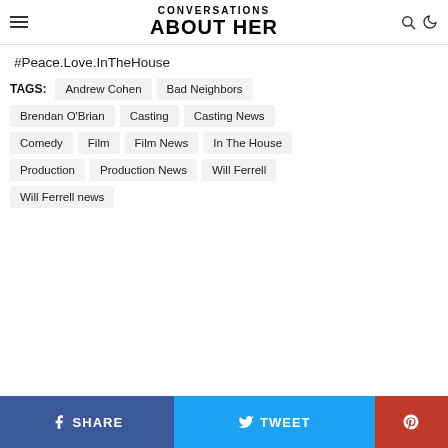CONVERSATIONS ABOUT HER
#Peace.Love.InTheHouse
TAGS: Andrew Cohen | Bad Neighbors | Brendan O'Brian | Casting | Casting News | Comedy | Film | Film News | In The House | Production | Production News | Will Ferrell | Will Ferrell news
SHARE | TWEET | Pinterest